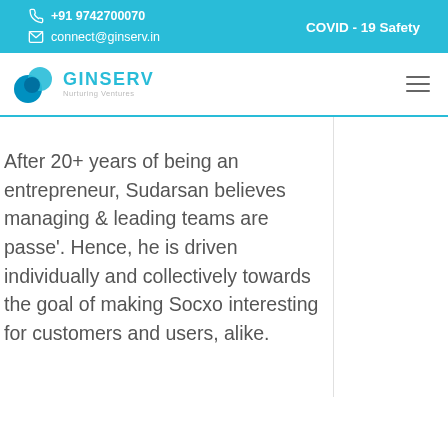+91 9742700070 | connect@ginserv.in | COVID - 19 Safety
[Figure (logo): GINSERV logo with two blue spheres and text 'GINSERV Nurturing Ventures']
After 20+ years of being an entrepreneur, Sudarsan believes managing & leading teams are passe'. Hence, he is driven individually and collectively towards the goal of making Socxo interesting for customers and users, alike.